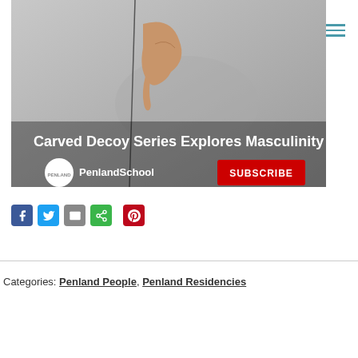[Figure (screenshot): YouTube video thumbnail showing a carved decoy sculpture with title 'Carved Decoy Series Explores Masculinity' and PenlandSchool channel with Subscribe button]
[Figure (infographic): Social share buttons: Facebook, Twitter, Email, ShareThis, Pinterest]
Categories: Penland People, Penland Residencies